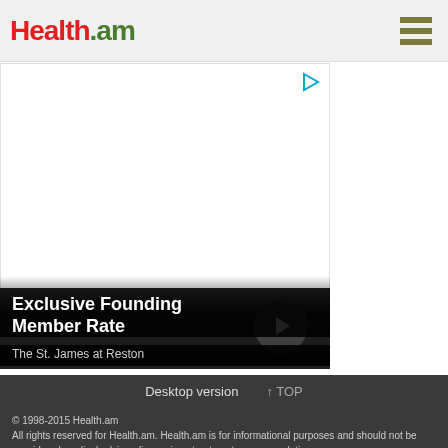[Figure (logo): Health.am logo with red 'Health' and green '.am' text]
[Figure (illustration): Advertisement banner area with play/ad icon in top right corner, white background]
Exclusive Founding Member Rate
The St. James at Reston
Desktop version  ↑ TOP
© 1998-2015 Health.am
All rights reserved for Health.am. Health.am is for informational purposes and should not be considered medical advice, diagnosis or treatment recommendations